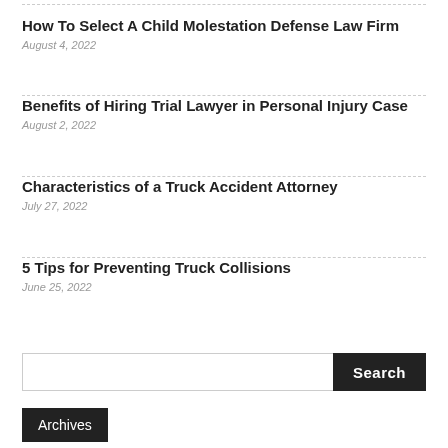How To Select A Child Molestation Defense Law Firm
August 4, 2022
Benefits of Hiring Trial Lawyer in Personal Injury Case
August 2, 2022
Characteristics of a Truck Accident Attorney
July 27, 2022
5 Tips for Preventing Truck Collisions
June 25, 2022
Search
Archives